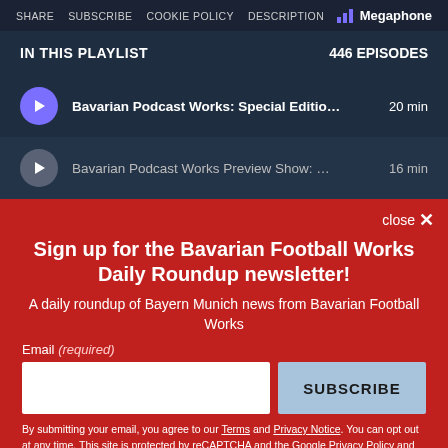SHARE  SUBSCRIBE  COOKIE POLICY  DESCRIPTION   Megaphone
IN THIS PLAYLIST   446 EPISODES
Bavarian Podcast Works: Special Editio…  20 min
Bavarian Podcast Works Preview Show: …16 min
Sign up for the Bavarian Football Works Daily Roundup newsletter!
A daily roundup of Bayern Munich news from Bavarian Football Works
Email (required)
SUBSCRIBE
By submitting your email, you agree to our Terms and Privacy Notice. You can opt out at any time. This site is protected by reCAPTCHA and the Google Privacy Policy and Terms of Service apply.